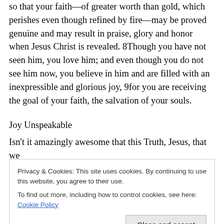so that your faith—of greater worth than gold, which perishes even though refined by fire—may be proved genuine and may result in praise, glory and honor when Jesus Christ is revealed. 8Though you have not seen him, you love him; and even though you do not see him now, you believe in him and are filled with an inexpressible and glorious joy, 9for you are receiving the goal of your faith, the salvation of your souls.
Joy Unspeakable
Isn't it amazingly awesome that this Truth, Jesus, that we
Privacy & Cookies: This site uses cookies. By continuing to use this website, you agree to their use.
To find out more, including how to control cookies, see here: Cookie Policy